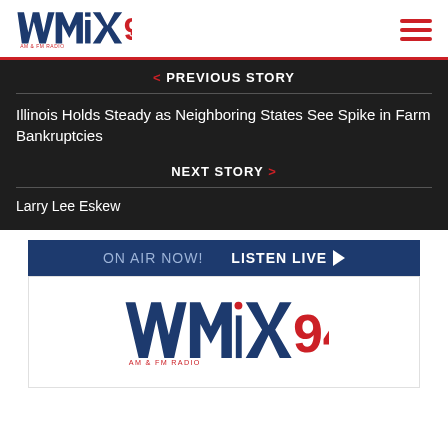[Figure (logo): WMIX 94 AM & FM Radio logo in navy and red]
< PREVIOUS STORY
Illinois Holds Steady as Neighboring States See Spike in Farm Bankruptcies
NEXT STORY >
Larry Lee Eskew
ON AIR NOW!  LISTEN LIVE ▶
[Figure (logo): WMIX 94 AM & FM Radio logo in navy and red (lower)]